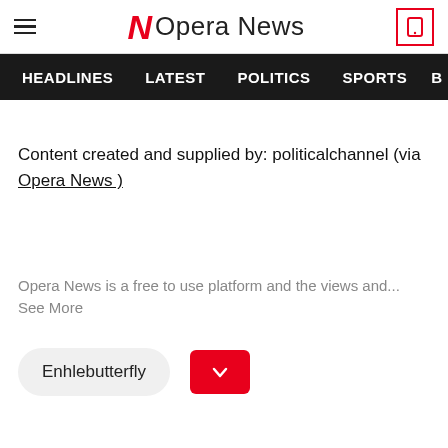Opera News
HEADLINES   LATEST   POLITICS   SPORTS
Content created and supplied by: politicalchannel (via Opera News )
Opera News is a free to use platform and the views and... See More
Enhlebutterfly